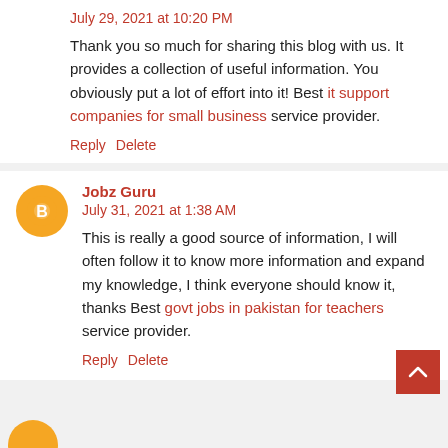July 29, 2021 at 10:20 PM
Thank you so much for sharing this blog with us. It provides a collection of useful information. You obviously put a lot of effort into it! Best it support companies for small business service provider.
Reply   Delete
Jobz Guru
July 31, 2021 at 1:38 AM
This is really a good source of information, I will often follow it to know more information and expand my knowledge, I think everyone should know it, thanks Best govt jobs in pakistan for teachers service provider.
Reply   Delete